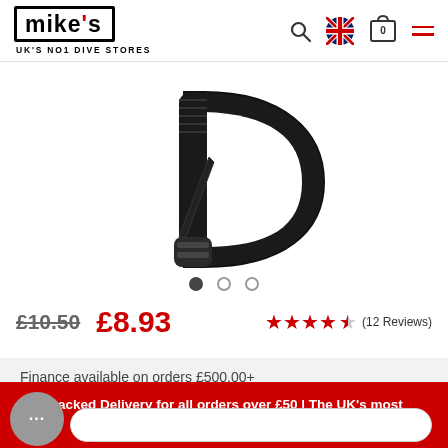mike's UK'S NO1 DIVE STORES
[Figure (photo): Close-up of a black diving carabiner/clip hook against a white background]
£10.50  £8.93  ★★★★½ (12 Reviews)
Finance available on orders £500.00+
Tracked Delivery for all orders over £50 | The UK's most sustainable Dive Store | 30 Day Returns